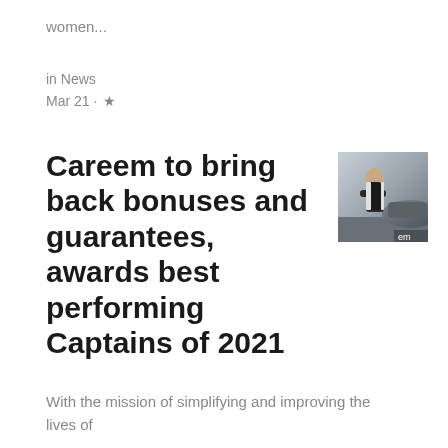women...
in News
Mar 21 · ★
Careem to bring back bonuses and guarantees, awards best performing Captains of 2021
[Figure (photo): A man in a dark vest standing with arms crossed near a car, partially labeled 'em']
With the mission of simplifying and improving the lives of